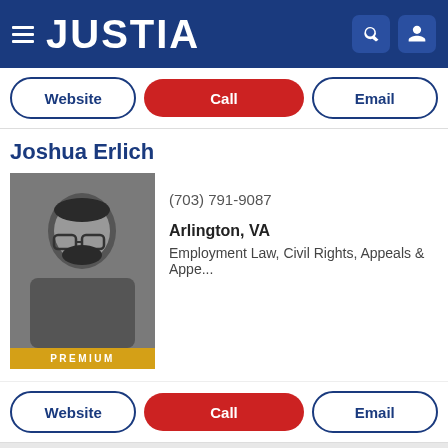JUSTIA
Website | Call | Email
Joshua Erlich
(703) 791-9087
Arlington, VA
Employment Law, Civil Rights, Appeals & Appe...
PREMIUM
Website | Call | Email
Matthew C. Perushek
[Figure (photo): Headshot of Joshua Erlich, a heavyset man with dark curly hair, beard, and glasses, wearing a dark suit and tie]
[Figure (photo): Headshot of Matthew C. Perushek, a young man with short brown hair, wearing a dark suit and tie, smiling]
(703) 925-0500
Fairfax, VA
Personal Injury, Medical Malpractice, Product...